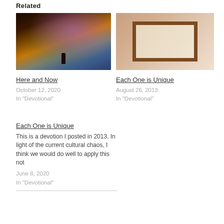Related
[Figure (photo): Night sky photo with a silhouette of a person and purple/pink galaxy light]
[Figure (photo): Photo of kids smiling and holding a wooden picture frame]
Here and Now
October 12, 2020
In "Devotional"
Each One is Unique
August 26, 2013
In "Devotional"
Each One is Unique
This is a devotion I posted in 2013. In light of the current cultural chaos, I think we would do well to apply this not
June 8, 2020
In "Devotional"